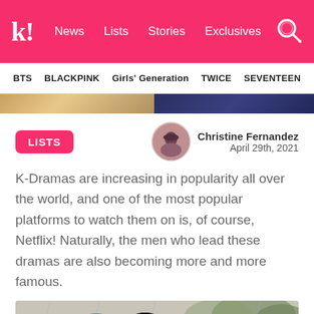k! News Lists Stories Exclusives
BTS BLACKPINK Girls' Generation TWICE SEVENTEEN
LISTS
Christine Fernandez
April 29th, 2021
K-Dramas are increasing in popularity all over the world, and one of the most popular platforms to watch them on is, of course, Netflix! Naturally, the men who lead these dramas are also becoming more and more famous.
[Figure (photo): A person with dark hair under an umbrella in the rain, outdoor scene with green foliage in background]